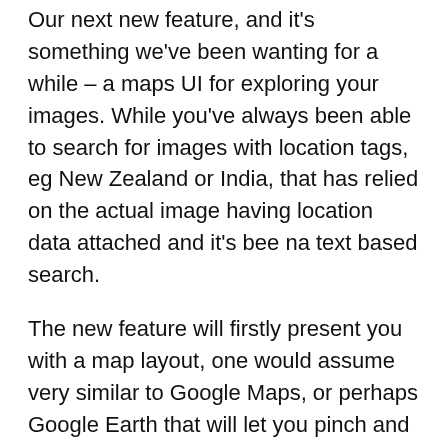Our next new feature, and it's something we've been wanting for a while – a maps UI for exploring your images. While you've always been able to search for images with location tags, eg New Zealand or India, that has relied on the actual image having location data attached and it's bee na text based search.
The new feature will firstly present you with a map layout, one would assume very similar to Google Maps, or perhaps Google Earth that will let you pinch and zoom across the globe searching for your location based images. Images will be selected from both photos you have taken and those shared with you, giving you access to all of the images associated in your account.
The other huge change here is that for images that do not